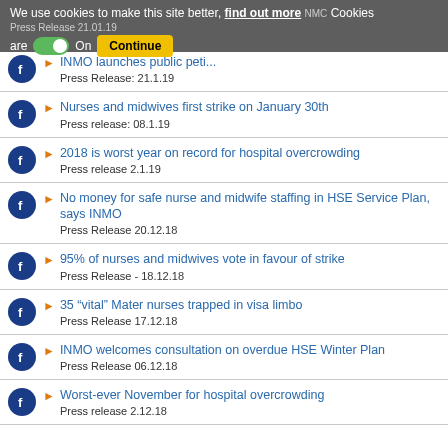We use cookies to make this site better, find out more. Cookies are On. Continue.
INMO launches public peti... | Press Release: 21.1.19
Nurses and midwives first strike on January 30th | Press release: 08.1.19
2018 is worst year on record for hospital overcrowding | Press release 2.1.19
No money for safe nurse and midwife staffing in HSE Service Plan, says INMO | Press Release 20.12.18
95% of nurses and midwives vote in favour of strike | Press Release - 18.12.18
35 “vital” Mater nurses trapped in visa limbo | Press Release 17.12.18
INMO welcomes consultation on overdue HSE Winter Plan | Press Release 06.12.18
Worst-ever November for hospital overcrowding | Press release 2.12.18